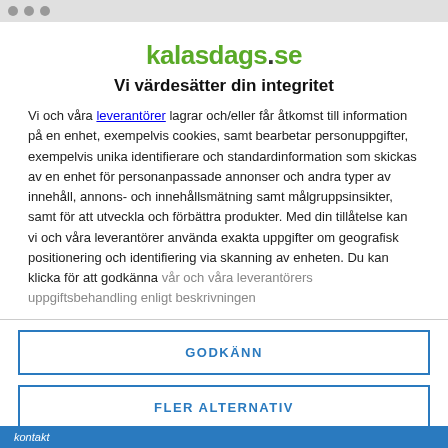kalasdags.se
Vi värdesätter din integritet
Vi och våra leverantörer lagrar och/eller får åtkomst till information på en enhet, exempelvis cookies, samt bearbetar personuppgifter, exempelvis unika identifierare och standardinformation som skickas av en enhet för personanpassade annonser och andra typer av innehåll, annons- och innehållsmätning samt målgruppsinsikter, samt för att utveckla och förbättra produkter. Med din tillåtelse kan vi och våra leverantörer använda exakta uppgifter om geografisk positionering och identifiering via skanning av enheten. Du kan klicka för att godkänna vår och våra leverantörers uppgiftsbehandling enligt beskrivningen
GODKÄNN
FLER ALTERNATIV
kontakt